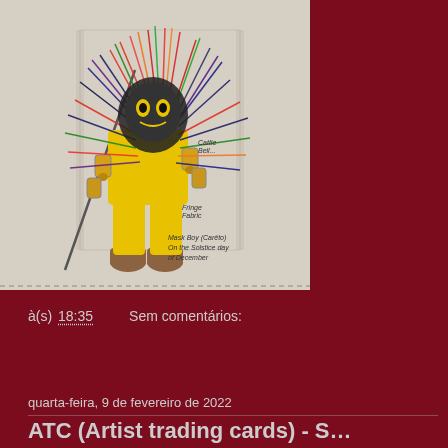[Figure (illustration): Hand-drawn illustration of a masked figure (Careto) wearing a colorful fringe costume with cattle bells, holding a staff, wearing yellow trousers and brown boots. Handwritten annotations: 'Cattle Bell', 'Fringe Fabric', 'Mask Boy (Careto) On the Solstice Day of December']
à(s) 18:35    Sem comentários:
Partilhar
quarta-feira, 9 de fevereiro de 2022
ATC (Artist trading cards) - S...